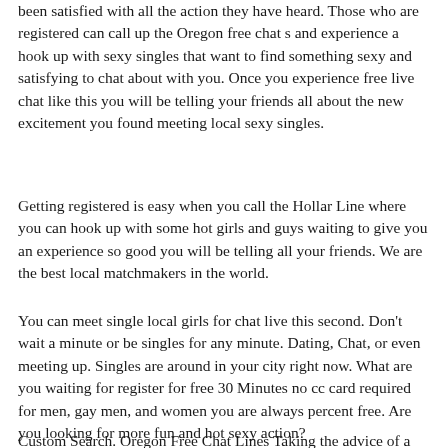been satisfied with all the action they have heard. Those who are registered can call up the Oregon free chat s and experience a hook up with sexy singles that want to find something sexy and satisfying to chat about with you. Once you experience free live chat like this you will be telling your friends all about the new excitement you found meeting local sexy singles.
Getting registered is easy when you call the Hollar Line where you can hook up with some hot girls and guys waiting to give you an experience so good you will be telling all your friends. We are the best local matchmakers in the world.
You can meet single local girls for chat live this second. Don't wait a minute or be singles for any minute. Dating, Chat, or even meeting up. Singles are around in your city right now. What are you waiting for register for free 30 Minutes no cc card required for men, gay men, and women you are always percent free. Are you looking for more fun and hot sexy action?
Custom Search. Oregon Free Chat Lines Taking the advice of a